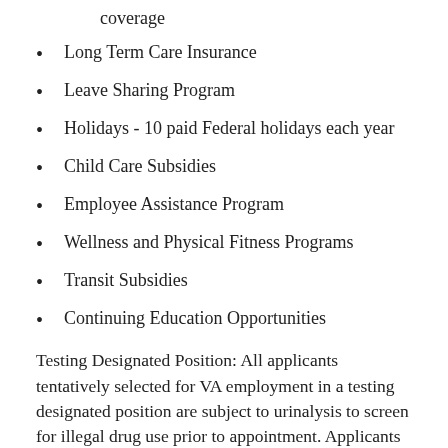coverage
Long Term Care Insurance
Leave Sharing Program
Holidays - 10 paid Federal holidays each year
Child Care Subsidies
Employee Assistance Program
Wellness and Physical Fitness Programs
Transit Subsidies
Continuing Education Opportunities
Testing Designated Position: All applicants tentatively selected for VA employment in a testing designated position are subject to urinalysis to screen for illegal drug use prior to appointment. Applicants who refuse to be tested will be denied employment with VA.
As well as challenges for felicitins. At a second...